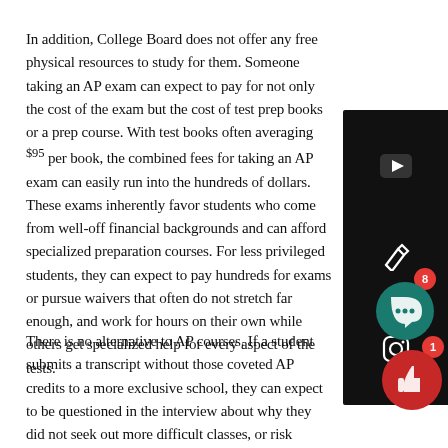In addition, College Board does not offer any free physical resources to study for them. Someone taking an AP exam can expect to pay for not only the cost of the exam but the cost of test prep books or a prep course. With test books often averaging $95 per book, the combined fees for taking an AP exam can easily run into the hundreds of dollars. These exams inherently favor students who come from well-off financial backgrounds and can afford specialized preparation courses. For less privileged students, they can expect to pay hundreds for exams or pursue waivers that often do not stretch far enough, and work for hours on their own while others get specialized help for every aspect of the tests.
There is no alternative to AP courses. If a student submits a transcript without those coveted AP credits to a more exclusive school, they can expect to be questioned in the interview about why they did not seek out more difficult classes, or risk admissions